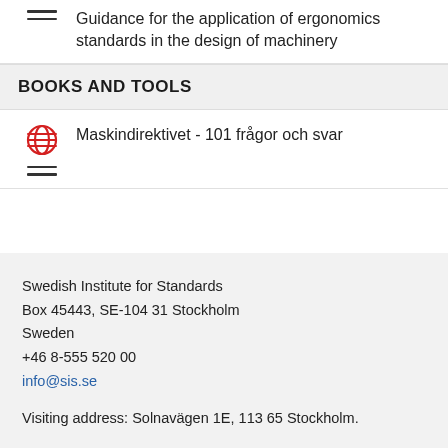Guidance for the application of ergonomics standards in the design of machinery
BOOKS AND TOOLS
Maskindirektivet - 101 frågor och svar
Swedish Institute for Standards
Box 45443, SE-104 31 Stockholm
Sweden
+46 8-555 520 00
info@sis.se
Visiting address: Solnavägen 1E, 113 65 Stockholm.